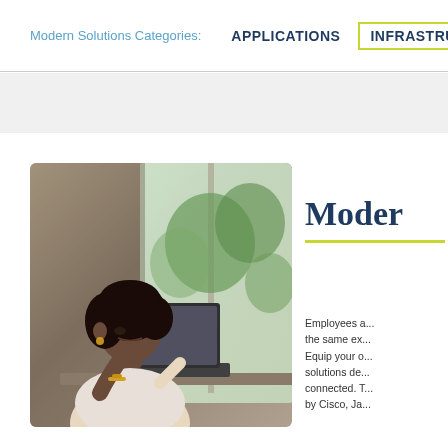Modern Solutions Categories:  APPLICATIONS  INFRASTRUCTURE
[Figure (photo): Woman with curly hair sitting at a high table, leaning on her hand while working on a laptop in a café or modern workspace with large windows and natural light]
Modern
Employees are expecting the same ex... Equip your o... solutions de... connected. T... by Cisco, Ja...